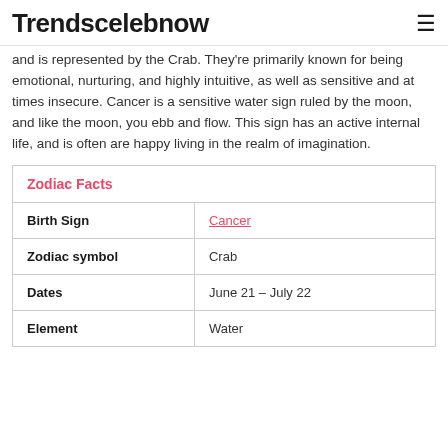Trendscelebnow
and is represented by the Crab. They're primarily known for being emotional, nurturing, and highly intuitive, as well as sensitive and at times insecure. Cancer is a sensitive water sign ruled by the moon, and like the moon, you ebb and flow. This sign has an active internal life, and is often are happy living in the realm of imagination.
| Zodiac Facts |  |
| --- | --- |
| Birth Sign | Cancer |
| Zodiac symbol | Crab |
| Dates | June 21 – July 22 |
| Element | Water |